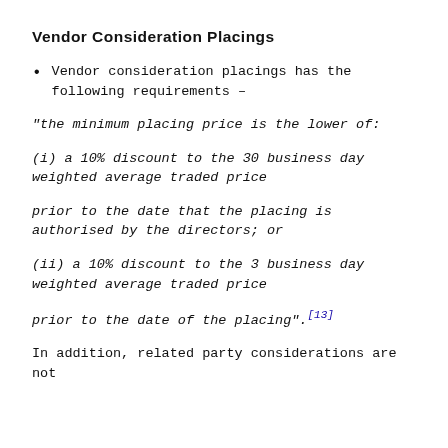Vendor Consideration Placings
Vendor consideration placings has the following requirements –
"the minimum placing price is the lower of:
(i) a 10% discount to the 30 business day weighted average traded price
prior to the date that the placing is authorised by the directors; or
(ii) a 10% discount to the 3 business day weighted average traded price
prior to the date of the placing".[13]
In addition, related party considerations are not